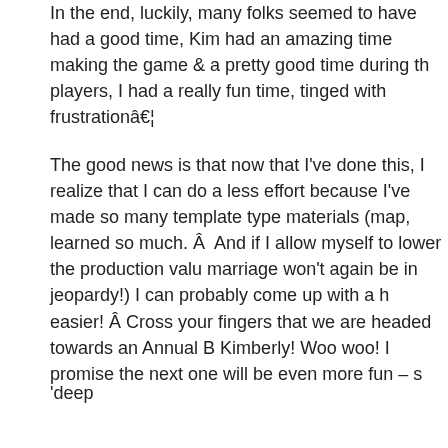In the end, luckily, many folks seemed to have had a good time, Kim had an amazing time making the game & a pretty good time during the players, I had a really fun time, tinged with frustrationâ€¦
The good news is that now that I've done this, I realize that I can do a less effort because I've made so many template type materials (map, learned so much. Â  And if I allow myself to lower the production valu marriage won't again be in jeopardy!) I can probably come up with a h easier! Â Cross your fingers that we are headed towards an Annual B Kimberly! Woo woo! I promise the next one will be even more fun – s
'deep